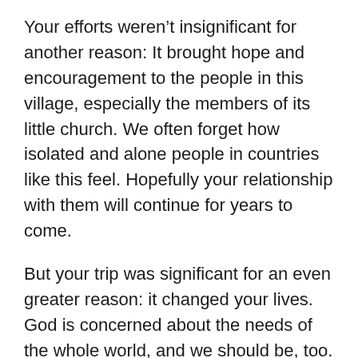Your efforts weren't insignificant for another reason: It brought hope and encouragement to the people in this village, especially the members of its little church. We often forget how isolated and alone people in countries like this feel. Hopefully your relationship with them will continue for years to come.
But your trip was significant for an even greater reason: it changed your lives. God is concerned about the needs of the whole world, and we should be, too. Remember Jesus' words: “The harvest is plentiful but the workers are few. Ask the Lord of the harvest, therefore, to send out workers into his harvest field” (Matthew 9:37-38).